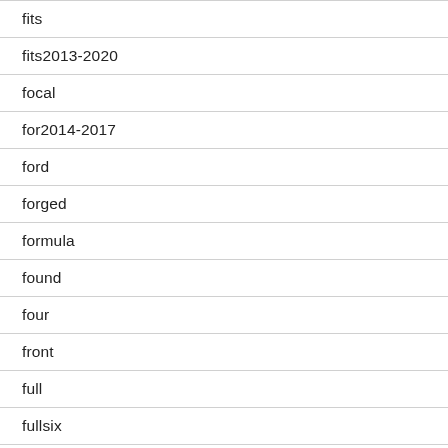fits
fits2013-2020
focal
for2014-2017
ford
forged
formula
found
four
front
full
fullsix
gamechanger